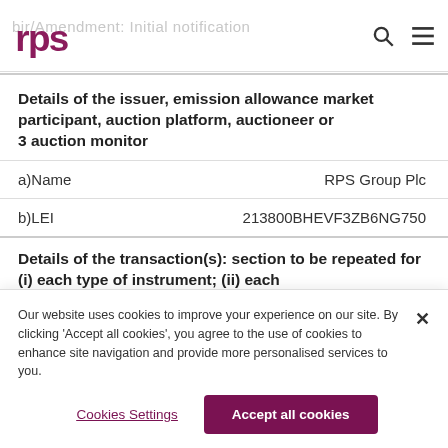bir/Amendment: Initial notification
3 Details of the issuer, emission allowance market participant, auction platform, auctioneer or auction monitor
a) Name   RPS Group Plc
b) LEI   213800BHEVF3ZB6NG750
Details of the transaction(s): section to be repeated for (i) each type of instrument; (ii) each
Our website uses cookies to improve your experience on our site. By clicking 'Accept all cookies', you agree to the use of cookies to enhance site navigation and provide more personalised services to you.
Cookies Settings
Accept all cookies